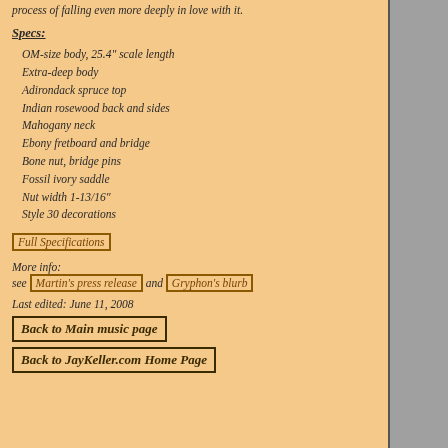process of falling even more deeply in love with it.
Specs:
OM-size body, 25.4" scale length
Extra-deep body
Adirondack spruce top
Indian rosewood back and sides
Mahogany neck
Ebony fretboard and bridge
Bone nut, bridge pins
Fossil ivory saddle
Nut width 1-13/16"
Style 30 decorations
Full Specifications
More info:
see Martin's press release and Gryphon's blurb
Last edited: June 11, 2008
Back to Main music page
Back to JayKeller.com Home Page